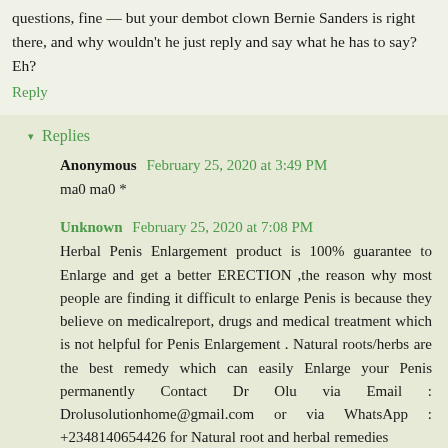questions, fine — but your dembot clown Bernie Sanders is right there, and why wouldn't he just reply and say what he has to say? Eh?
Reply
Replies
Anonymous  February 25, 2020 at 3:49 PM
ma0 ma0 *
Unknown  February 25, 2020 at 7:08 PM
Herbal Penis Enlargement product is 100% guarantee to Enlarge and get a better ERECTION ,the reason why most people are finding it difficult to enlarge Penis is because they believe on medicalreport, drugs and medical treatment which is not helpful for Penis Enlargement . Natural roots/herbs are the best remedy which can easily Enlarge your Penis permanently Contact Dr Olu via Email : Drolusolutionhome@gmail.com or via WhatsApp : +2348140654426 for Natural root and herbal remedies